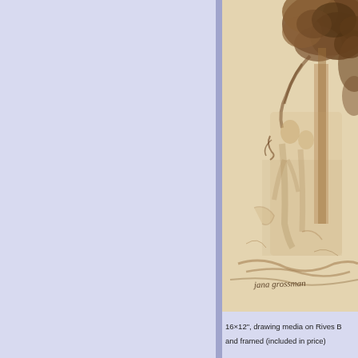[Figure (photo): A sepia/brown ink drawing on paper showing figures beneath a large tree with dense foliage. The artwork appears to be a classical-style sketch with a signature in cursive script at the bottom reading 'jana grossman'. The image is partially cropped on the right side.]
16×12", drawing media on Rives B and framed (included in price)